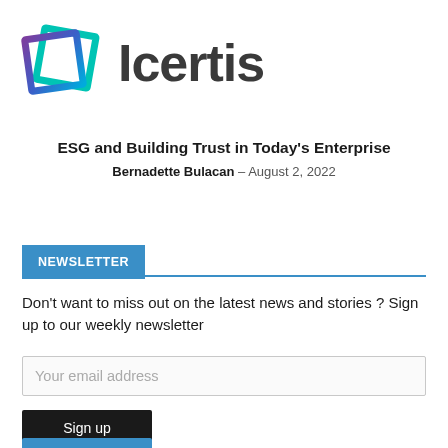[Figure (logo): Icertis logo with two overlapping squares in blue/purple/teal gradient and the word 'Icertis' in dark gray bold text]
ESG and Building Trust in Today's Enterprise
Bernadette Bulacan – August 2, 2022
NEWSLETTER
Don't want to miss out on the latest news and stories ? Sign up to our weekly newsletter
Your email address
Sign up